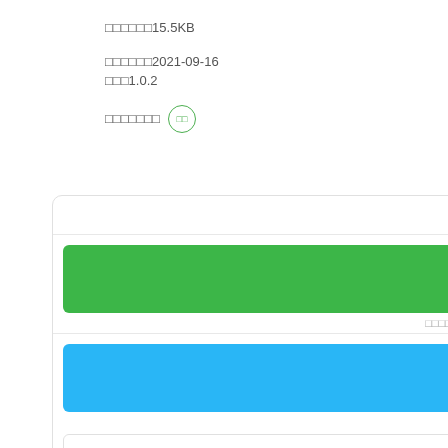大小：15.5KB
发布时间：2021-09-16
版本：1.0.2
开源许可证 开
[Figure (infographic): UI card with green button bar, blue button bar, and gray outlined section at bottom]